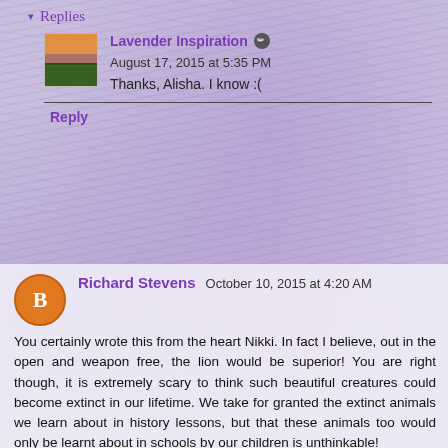▾ Replies
Lavender Inspiration ✏ August 17, 2015 at 5:35 PM
Thanks, Alisha. I know :(
Reply
Richard Stevens October 10, 2015 at 4:20 AM
You certainly wrote this from the heart Nikki. In fact I believe, out in the open and weapon free, the lion would be superior! You are right though, it is extremely scary to think such beautiful creatures could become extinct in our lifetime. We take for granted the extinct animals we learn about in history lessons, but that these animals too would only be learnt about in schools by our children is unthinkable!
Reply